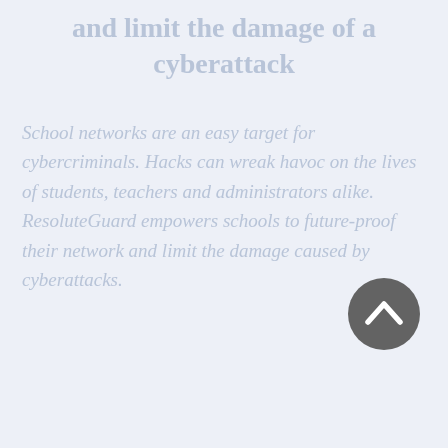and limit the damage of a cyberattack
School networks are an easy target for cybercriminals. Hacks can wreak havoc on the lives of students, teachers and administrators alike. ResoluteGuard empowers schools to future-proof their network and limit the damage caused by cyberattacks.
[Figure (other): A dark grey circular button with a white upward-pointing chevron/arrow icon, positioned in the lower right area of the page.]